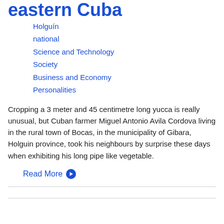eastern Cuba
Holguín
national
Science and Technology
Society
Business and Economy
Personalities
Cropping a 3 meter and 45 centimetre long yucca is really unusual, but Cuban farmer Miguel Antonio Avila Cordova living in the rural town of Bocas, in the municipality of Gibara, Holguin province, took his neighbours by surprise these days when exhibiting his long pipe like vegetable.
Read More